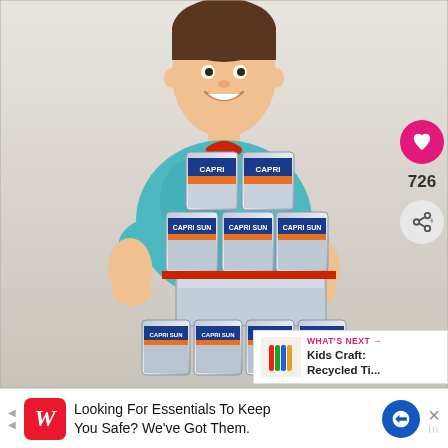[Figure (photo): A young smiling boy wearing a homemade apron crafted from Capri Sun juice pouches, with red trim straps. The apron has multiple pouches stitched together in a silvery/metallic look with blue and orange Capri Sun branding. He is wearing a teal tie-dye t-shirt and standing against a light gray background.]
726
WHAT'S NEXT → Kids Craft: Recycled Ti...
Looking For Essentials To Keep You Safe? We've Got Them.